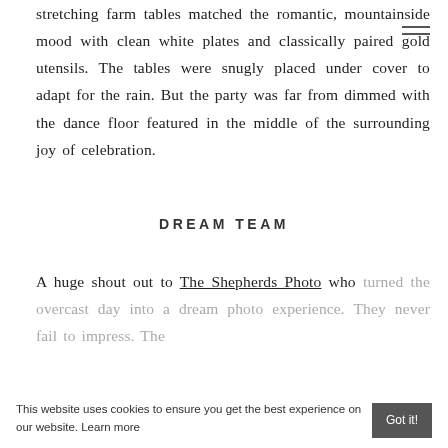stretching farm tables matched the romantic, mountainside mood with clean white plates and classically paired gold utensils. The tables were snugly placed under cover to adapt for the rain. But the party was far from dimmed with the dance floor featured in the middle of the surrounding joy of celebration.
DREAM TEAM
A huge shout out to The Shepherds Photo who turned the overcast day into a dream photo experience. They never fail to impress. The
This website uses cookies to ensure you get the best experience on our website. Learn more